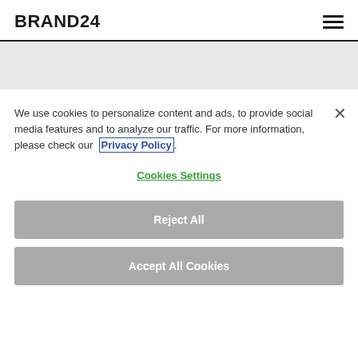BRAND24
We use cookies to personalize content and ads, to provide social media features and to analyze our traffic. For more information, please check our Privacy Policy.
Cookies Settings
Reject All
Accept All Cookies